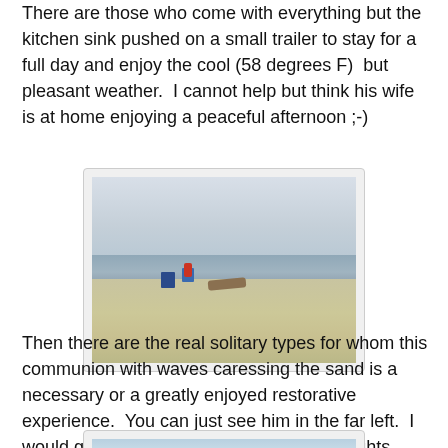There are those who come with everything but the kitchen sink pushed on a small trailer to stay for a full day and enjoy the cool (58 degrees F)  but pleasant weather.  I cannot help but think his wife is at home enjoying a peaceful afternoon ;-)
[Figure (photo): A person sitting in a chair on a sandy beach near the water, with another folding chair beside them and driftwood in the background. The sky is overcast and the sea is calm.]
Then there are the real solitary types for whom this communion with waves caressing the sand is a necessary or a greatly enjoyed restorative experience.  You can just see him in the far left.  I would give more than a penny for his thoughts.
[Figure (photo): Partial view of a beach scene with sky and water visible at the bottom of the page.]